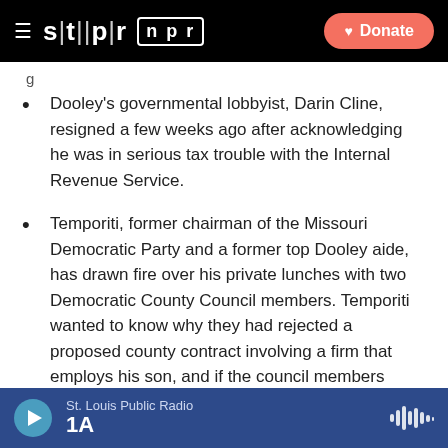STLPR NPR | Donate
Dooley's governmental lobbyist, Darin Cline, resigned a few weeks ago after acknowledging he was in serious tax trouble with the Internal Revenue Service.
Temporiti, former chairman of the Missouri Democratic Party and a former top Dooley aide, has drawn fire over his private lunches with two Democratic County Council members. Temporiti wanted to know why they had rejected a proposed county contract involving a firm that employs his son, and if the council members might change their minds if it came up again. (The two -- Democrats
St. Louis Public Radio | 1A